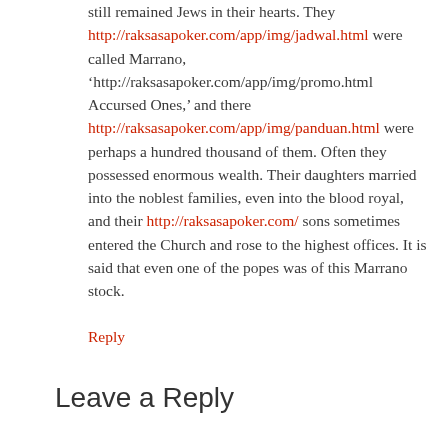still remained Jews in their hearts. They http://raksasapoker.com/app/img/jadwal.html were called Marrano, 'http://raksasapoker.com/app/img/promo.html Accursed Ones,' and there http://raksasapoker.com/app/img/panduan.html were perhaps a hundred thousand of them. Often they possessed enormous wealth. Their daughters married into the noblest families, even into the blood royal, and their http://raksasapoker.com/ sons sometimes entered the Church and rose to the highest offices. It is said that even one of the popes was of this Marrano stock.
Reply
Leave a Reply